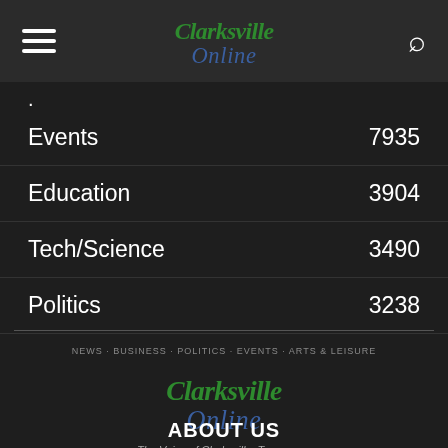Clarksville Online — header with hamburger menu and search icon
Events 7935
Education 3904
Tech/Science 3490
Politics 3238
[Figure (logo): Clarksville Online logo with green and blue script text, tagline: NEWS · BUSINESS · POLITICS · EVENTS · ARTS & LEISURE, The Voice of Clarksville, Tennessee]
ABOUT US